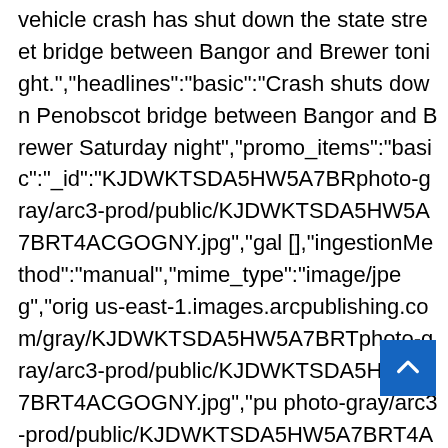vehicle crash has shut down the state street bridge between Bangor and Brewer tonight.","headlines":"basic":"Crash shuts down Penobscot bridge between Bangor and Brewer Saturday night","promo_items":"basic":"_id":"KJDWKTSDA5HW5A7BRT4ACGOGNY.jpg","ga[],"ingestionMethod":"manual","mime_type":"image/jpeg","origi us-east-1.images.arcpublishing.com/gray/KJDWKTSDA5HW5A7BRT4photo-gray/arc3-prod/public/KJDWKTSDA5HW5A7BRT4ACGOGNY.jpg","pu photo-gray/arc3-prod/public/KJDWKTSDA5HW5A7BRT4ACGOGNY.jpg","res xyOuppNX6I=/300x0/arc-photo-gray/arc3-prod/public/KJDWKTSDA5HW5A7BRT4ACGOGNY.jpg","usa do not know if anyone was injured at this time or how